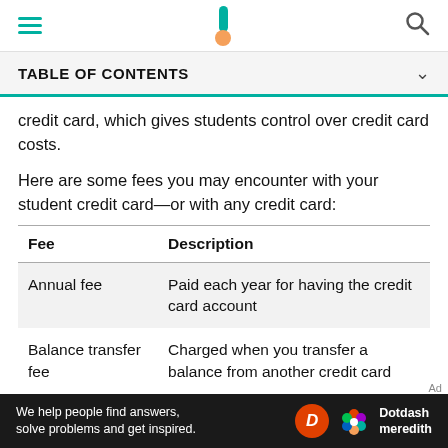TABLE OF CONTENTS
credit card, which gives students control over credit card costs.
Here are some fees you may encounter with your student credit card—or with any credit card:
| Fee | Description |
| --- | --- |
| Annual fee | Paid each year for having the credit card account |
| Balance transfer fee | Charged when you transfer a balance from another credit card |
We help people find answers, solve problems and get inspired. Dotdash meredith